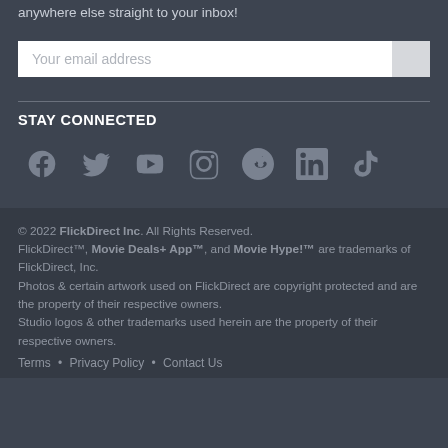anywhere else straight to your inbox!
[Figure (screenshot): Email address input field with submit button]
STAY CONNECTED
[Figure (infographic): Social media icons: Facebook, Twitter, YouTube, Instagram, Reddit, LinkedIn, TikTok]
© 2022 FlickDirect Inc. All Rights Reserved. FlickDirect™, Movie Deals+ App™, and Movie Hype!™ are trademarks of FlickDirect, Inc. Photos & certain artwork used on FlickDirect are copyright protected and are the property of their respective owners. Studio logos & other trademarks used herein are the property of their respective owners.
Terms • Privacy Policy • Contact Us